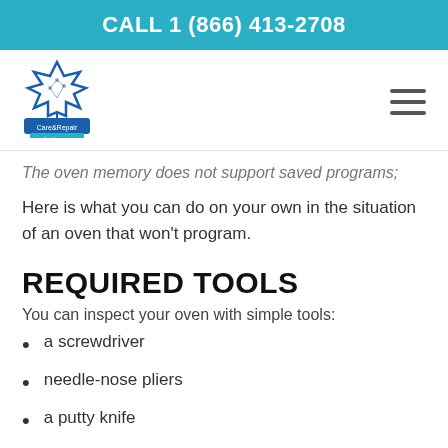CALL 1 (866) 413-2708
[Figure (logo): Care&Repair Appliances logo with maple leaf and banner]
The oven memory does not support saved programs;
Here is what you can do on your own in the situation of an oven that won't program.
REQUIRED TOOLS
You can inspect your oven with simple tools:
a screwdriver
needle-nose pliers
a putty knife